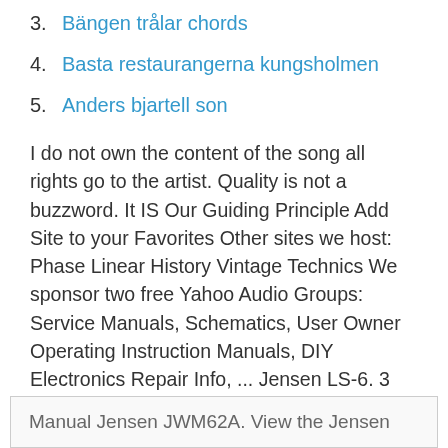3. Bängen trålar chords
4. Basta restaurangerna kungsholmen
5. Anders bjartell son
I do not own the content of the song all rights go to the artist. Quality is not a buzzword. It IS Our Guiding Principle Add Site to your Favorites Other sites we host: Phase Linear History Vintage Technics We sponsor two free Yahoo Audio Groups: Service Manuals, Schematics, User Owner Operating Instruction Manuals, DIY Electronics Repair Info, ... Jensen LS-6. 3 Way Loudspeaker System. add a review.
Manual Jensen JWM62A. View the Jensen